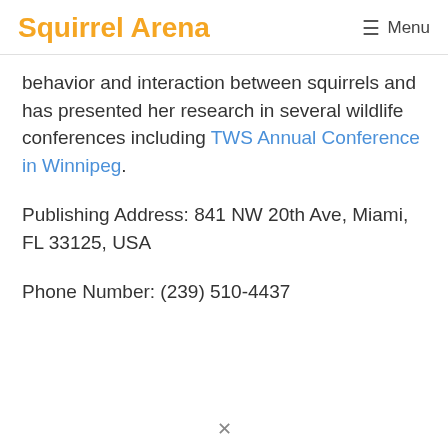Squirrel Arena   ☰ Menu
behavior and interaction between squirrels and has presented her research in several wildlife conferences including TWS Annual Conference in Winnipeg.
Publishing Address: 841 NW 20th Ave, Miami, FL 33125, USA
Phone Number: (239) 510-4437